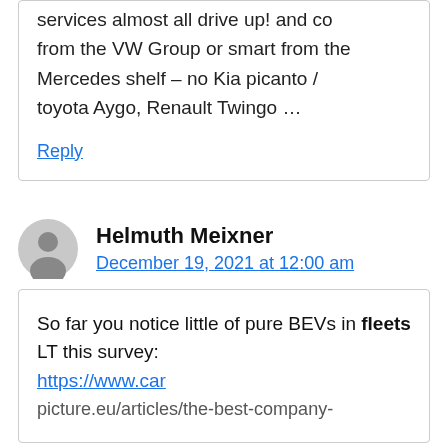services almost all drive up! and co from the VW Group or smart from the Mercedes shelf – no Kia picanto / toyota Aygo, Renault Twingo ...
Reply
Helmuth Meixner
December 19, 2021 at 12:00 am
So far you notice little of pure BEVs in fleets LT this survey:
https://www.car
picture.eu/articles/the-best-company-